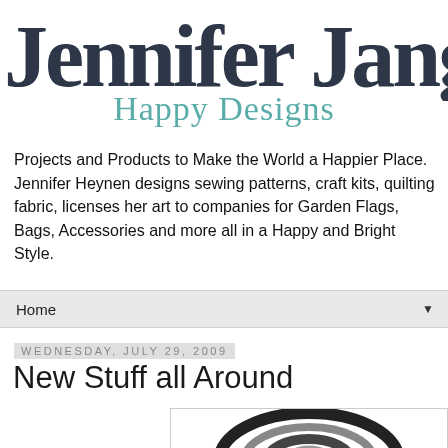[Figure (logo): Jennifer Jangles cursive script logo in dark navy/charcoal, and 'Happy Designs' subtitle in teal below]
Projects and Products to Make the World a Happier Place. Jennifer Heynen designs sewing patterns, craft kits, quilting fabric, licenses her art to companies for Garden Flags, Bags, Accessories and more all in a Happy and Bright Style.
Home ▼
Wednesday, July 29, 2009
New Stuff all Around
[Figure (photo): Partial image of a spiral-patterned item at the bottom of the page]